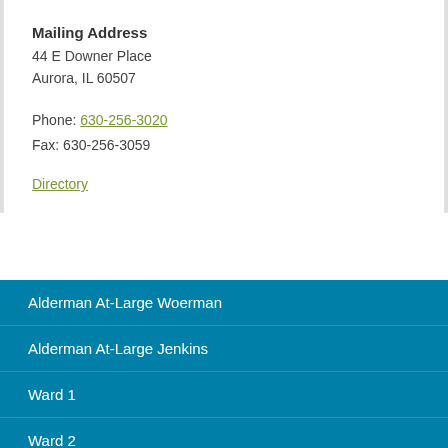Mailing Address
44 E Downer Place
Aurora, IL 60507
Phone: 630-256-3020
Fax: 630-256-3059
Directory
Alderman At-Large Woerman
Alderman At-Large Jenkins
Ward 1
Ward 2